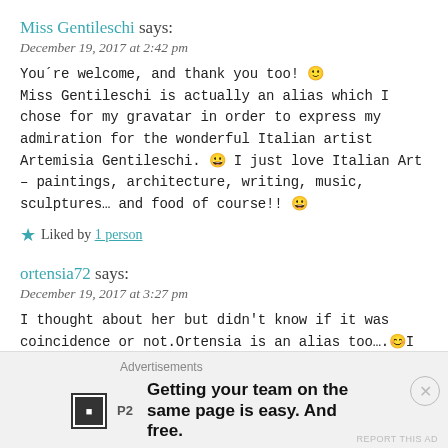Miss Gentileschi says:
December 19, 2017 at 2:42 pm
You´re welcome, and thank you too! 🙂 Miss Gentileschi is actually an alias which I chose for my gravatar in order to express my admiration for the wonderful Italian artist Artemisia Gentileschi. 😀 I just love Italian Art – paintings, architecture, writing, music, sculptures… and food of course!! 😀
★ Liked by 1 person
ortensia72 says:
December 19, 2017 at 3:27 pm
I thought about her but didn't know if it was coincidence or not.Ortensia is an alias too….😊I like the name and would have liked for my second
Advertisements
P2 Getting your team on the same page is easy. And free.